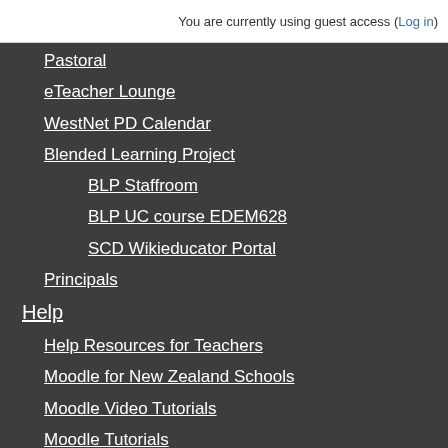You are currently using guest access (Log in)
Pastoral
eTeacher Lounge
WestNet PD Calendar
Blended Learning Project
BLP Staffroom
BLP UC course EDEM628
SCD Wikieducator Portal
Principals
Help
Help Resources for Teachers
Moodle for New Zealand Schools
Moodle Video Tutorials
Moodle Tutorials
Moodle for Teaching and Learning
Designing a course
Contact
Report a Fault